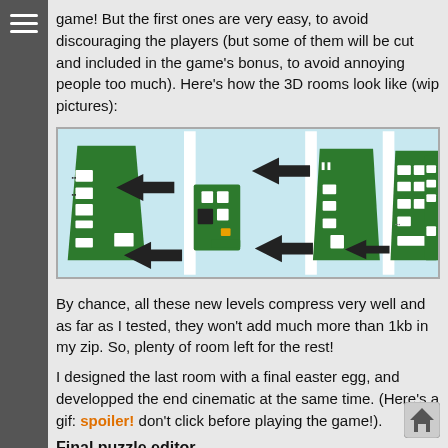game! But the first ones are very easy, to avoid discouraging the players (but some of them will be cut and included in the game's bonus, to avoid annoying people too much). Here's how the 3D rooms look like (wip pictures):
[Figure (screenshot): Screenshot of 3D game rooms showing green circuit board-like structures against a light blue background, with black arrows indicating movement directions. Multiple panels show different views/stages of the same room design.]
By chance, all these new levels compress very well and as far as I tested, they won't add much more than 1kb in my zip. So, plenty of room left for the rest!
I designed the last room with a final easter egg, and developped the end cinematic at the same time. (Here's a gif: spoiler! don't click before playing the game!).
Final puzzle editor
After all these puzzles are completed, the final puzzle editor is